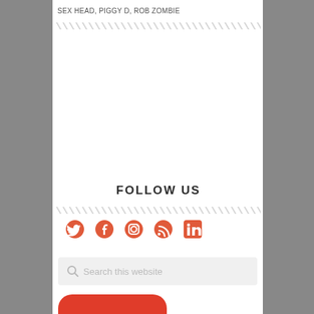SEX HEAD, PIGGY D, ROB ZOMBIE
FOLLOW US
[Figure (illustration): Social media icons: Twitter, Facebook, Instagram, RSS, LinkedIn — all in coral/red-orange color]
Search this website